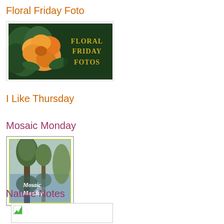Floral Friday Foto
[Figure (photo): Floral Friday Fotos banner image with orange rose and dark green foliage background, text reads 'FLORAL FRIDAY FOTOS' in golden letters]
I Like Thursday
Mosaic Monday
[Figure (photo): Mosaic Monday badge image showing a tree reflected in water, with white italic text overlay reading 'Mosaic Monday', framed with a yellow-green border]
Nature Notes
[Figure (photo): Nature Notes image placeholder with broken image icon (small green mountain/landscape icon)]